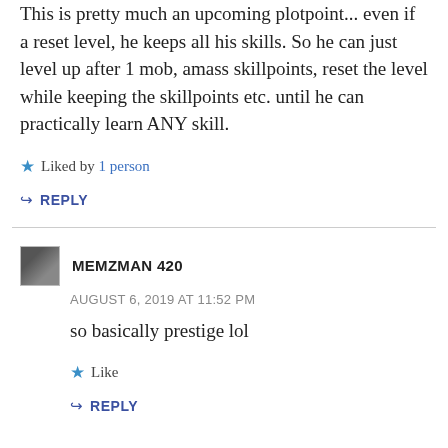This is pretty much an upcoming plotpoint... even if a reset level, he keeps all his skills. So he can just level up after 1 mob, amass skillpoints, reset the level while keeping the skillpoints etc. until he can practically learn ANY skill.
Liked by 1 person
REPLY
MEMZMAN 420
AUGUST 6, 2019 AT 11:52 PM
so basically prestige lol
Like
REPLY